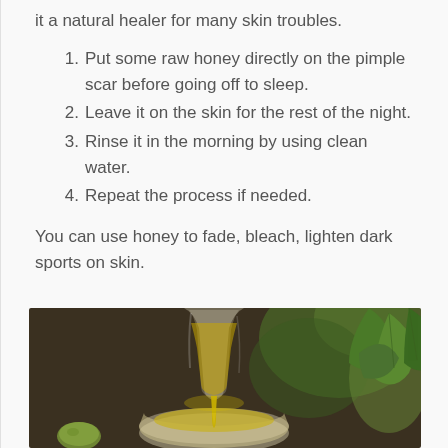it a natural healer for many skin troubles.
Put some raw honey directly on the pimple scar before going off to sleep.
Leave it on the skin for the rest of the night.
Rinse it in the morning by using clean water.
Repeat the process if needed.
You can use honey to fade, bleach, lighten dark sports on skin.
[Figure (photo): Photo of olive oil being poured from a glass vessel into a bowl, with green olive leaves in the background]